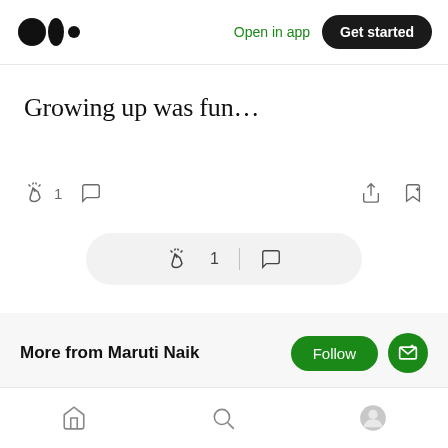Medium logo | Open in app | Get started
Growing up was fun...
[Figure (screenshot): Article action bar with clap icon showing 1 clap, comment icon, share icon, and bookmark icon]
[Figure (screenshot): Floating pill showing clap icon with 1, divider, and comment icon]
More from Maruti Naik
I write to remember. I write to remain honest. I write to leave a bread crumb trail for my daughter. I write to relax. Trying to
Bottom navigation bar with home, search, and profile icons